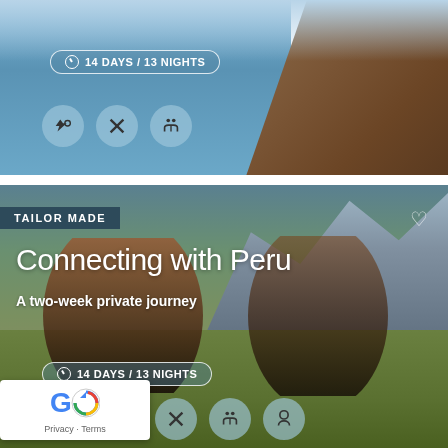[Figure (photo): Top travel card showing a scenic coastal landscape with blue water and reddish-brown rocky terrain, with icons for 14 days/13 nights trip features]
[Figure (photo): Bottom travel card for 'Connecting with Peru' showing two women in traditional Peruvian clothing in a mountain meadow landscape with snow-capped mountains in background, tagged as Tailor Made, 14 Days / 13 Nights]